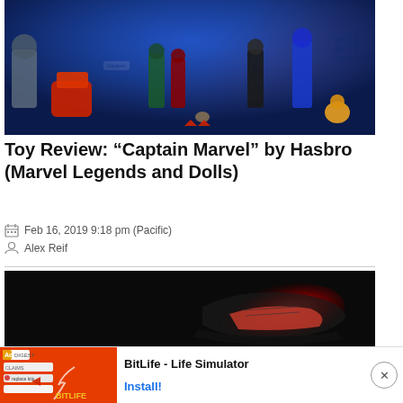[Figure (photo): Photo of Captain Marvel action figures and toys by Hasbro displayed in front of a Marvel backdrop with multiple character figures]
Toy Review: “Captain Marvel” by Hasbro (Marvel Legends and Dolls)
Feb 16, 2019 9:18 pm (Pacific)
Alex Reif
[Figure (photo): Dark photo of a black and red sneaker/shoe against a dark background]
[Figure (other): Advertisement banner for BitLife - Life Simulator app with install button and ad imagery]